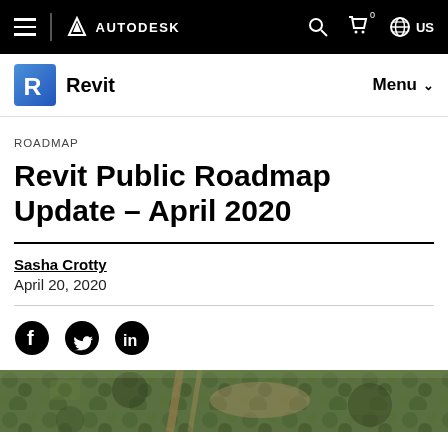AUTODESK — Revit — Menu
ROADMAP
Revit Public Roadmap Update – April 2020
Sasha Crotty
April 20, 2020
[Figure (illustration): Social media sharing icons: Facebook, Twitter, LinkedIn]
[Figure (photo): Aerial photograph of a forested area with construction site]